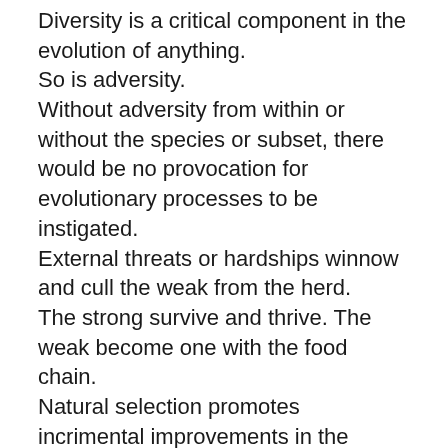Diversity is a critical component in the evolution of anything. So is adversity. Without adversity from within or without the species or subset, there would be no provocation for evolutionary processes to be instigated. External threats or hardships winnow and cull the weak from the herd. The strong survive and thrive. The weak become one with the food chain. Natural selection promotes incrimental improvements in the species in order to better adapt to its microcosm. The strength of adversity is much like an alloy of a metal for improved tensile strength, shear strength, hardness, density or weight. In a society, common purspose and mutual support